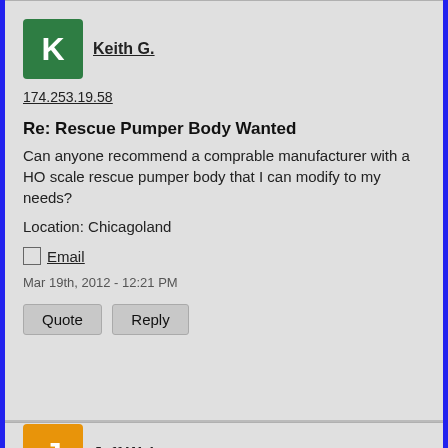Keith G.
174.253.19.58
Re: Rescue Pumper Body Wanted
Can anyone recommend a comprable manufacturer with a HO scale rescue pumper body that I can modify to my needs?
Location: Chicagoland
Email
Mar 19th, 2012 - 12:21 PM
Quote Reply
Jeff Webster
70.62.209.26